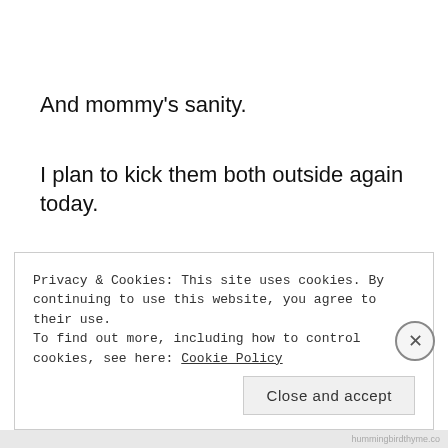And mommy’s sanity.
I plan to kick them both outside again today.
Just as soon as I can find my broom and have my husband install another extra-strength dead-bolt.
Privacy & Cookies: This site uses cookies. By continuing to use this website, you agree to their use.
To find out more, including how to control cookies, see here: Cookie Policy
Close and accept